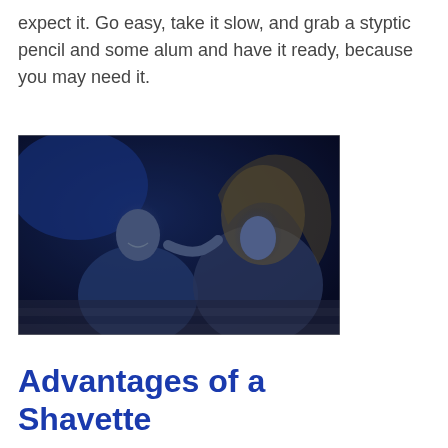expect it. Go easy, take it slow, and grab a styptic pencil and some alum and have it ready, because you may need it.
[Figure (photo): A man and a woman in dim blue lighting, smiling and leaning close together, reclining on a striped surface.]
Advantages of a Shavette